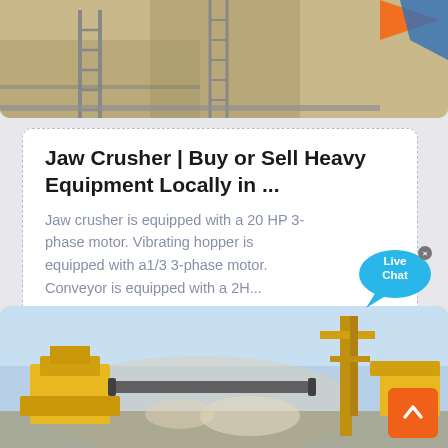[Figure (photo): Top portion of a construction/mining site with ladders, scaffolding, and equipment visible against a sandy/rocky background with a colourful flag or banner in the upper right.]
Jaw Crusher | Buy or Sell Heavy Equipment Locally in ...
Jaw crusher is equipped with a 20 HP 3-phase motor. Vibrating hopper is equipped with a1/3 3-phase motor. Conveyor is equipped with a 2H...
[Figure (photo): Outdoor mining/quarry site showing yellow heavy crushing and conveyor equipment against a blue sky background with dust clouds.]